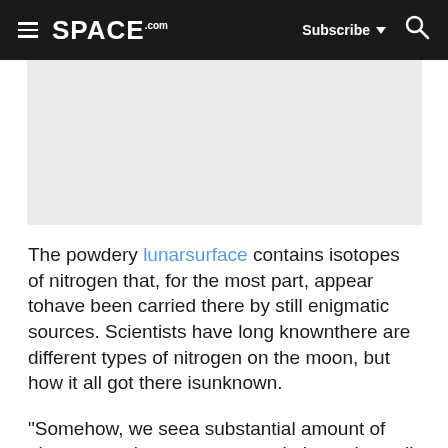SPACE.com — Subscribe — Search
[Figure (other): Gray advertisement placeholder rectangle]
The powdery lunarsurface contains isotopes of nitrogen that, for the most part, appear tohave been carried there by still enigmatic sources. Scientists have long knownthere are different types of nitrogen on the moon, but how it all got there isunknown.
"Somehow, we seea substantial amount of nitrogen on themoon, over and above the well-known solar wind, and we don't have a singleclue as to where it comes from," said cosmochemist John Kerridge at the